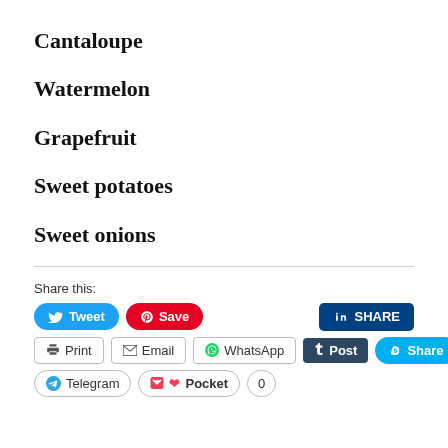Cantaloupe
Watermelon
Grapefruit
Sweet potatoes
Sweet onions
Share this:
Tweet  Save  SHARE  Print  Email  WhatsApp  Post  Share  Telegram  Pocket  0